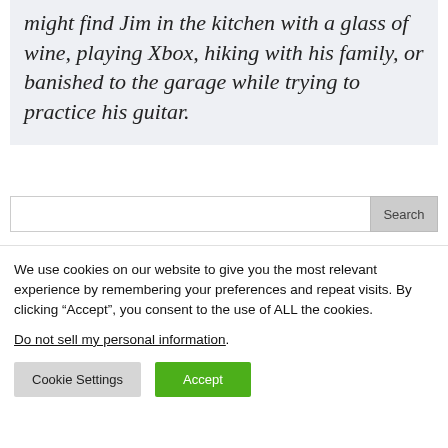might find Jim in the kitchen with a glass of wine, playing Xbox, hiking with his family, or banished to the garage while trying to practice his guitar.
We use cookies on our website to give you the most relevant experience by remembering your preferences and repeat visits. By clicking “Accept”, you consent to the use of ALL the cookies. Do not sell my personal information.